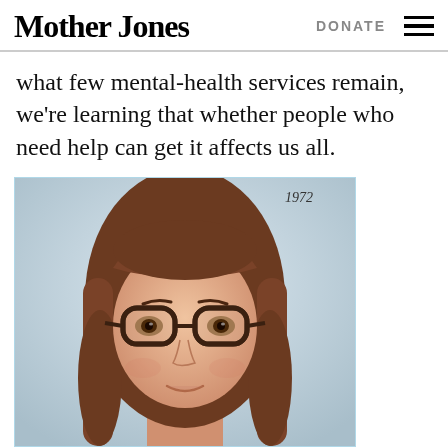Mother Jones | DONATE
what few mental-health services remain, we're learning that whether people who need help can get it affects us all.
[Figure (photo): A vintage 1972 school portrait photo of a young woman with long brown hair and large rounded glasses, smiling slightly, with a light blue background. The year '1972' is handwritten in the top right corner of the photo.]